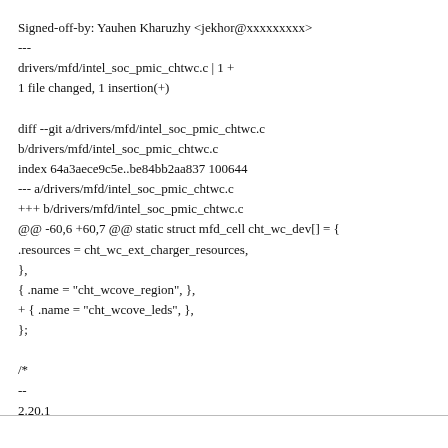Signed-off-by: Yauhen Kharuzhy <jekhor@xxxxxxxxx>
---
drivers/mfd/intel_soc_pmic_chtwc.c | 1 +
1 file changed, 1 insertion(+)

diff --git a/drivers/mfd/intel_soc_pmic_chtwc.c b/drivers/mfd/intel_soc_pmic_chtwc.c
index 64a3aece9c5e..be84bb2aa837 100644
--- a/drivers/mfd/intel_soc_pmic_chtwc.c
+++ b/drivers/mfd/intel_soc_pmic_chtwc.c
@@ -60,6 +60,7 @@ static struct mfd_cell cht_wc_dev[] = {
 .resources = cht_wc_ext_charger_resources,
 },
 { .name = "cht_wcove_region", },
+ { .name = "cht_wcove_leds", },
 };

/*
--
2.20.1